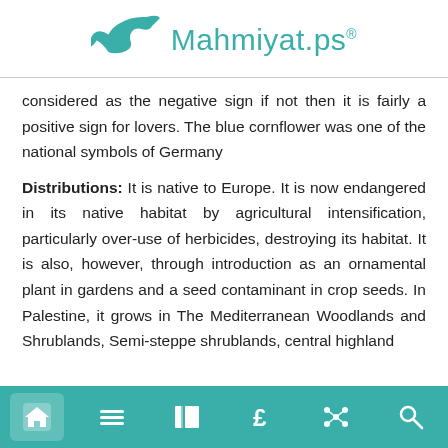Mahmiyat.ps®
considered as the negative sign if not then it is fairly a positive sign for lovers. The blue cornflower was one of the national symbols of Germany
Distributions: It is native to Europe. It is now endangered in its native habitat by agricultural intensification, particularly over-use of herbicides, destroying its habitat. It is also, however, through introduction as an ornamental plant in gardens and a seed contaminant in crop seeds. In Palestine, it grows in The Mediterranean Woodlands and Shrublands, Semi-steppe shrublands, central highland
Navigation bar with home, menu, book, currency, network, and search icons